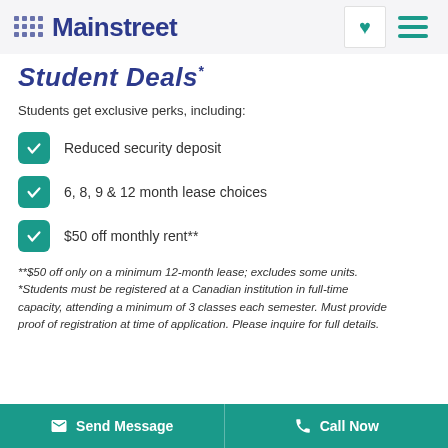Mainstreet
Student Deals*
Students get exclusive perks, including:
Reduced security deposit
6, 8, 9 & 12 month lease choices
$50 off monthly rent**
**$50 off only on a minimum 12-month lease; excludes some units. *Students must be registered at a Canadian institution in full-time capacity, attending a minimum of 3 classes each semester. Must provide proof of registration at time of application. Please inquire for full details.
Send Message   Call Now